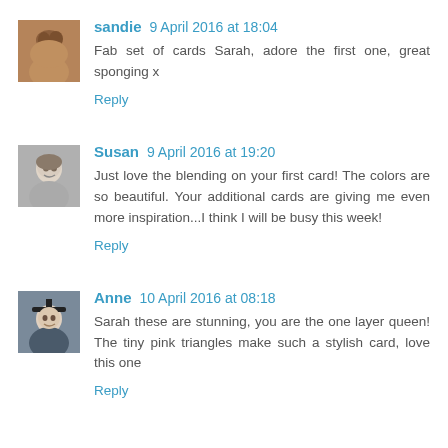[Figure (photo): Avatar photo of sandie - woman with blonde hair]
sandie 9 April 2016 at 18:04
Fab set of cards Sarah, adore the first one, great sponging x
Reply
[Figure (photo): Avatar photo of Susan - woman smiling]
Susan 9 April 2016 at 19:20
Just love the blending on your first card! The colors are so beautiful. Your additional cards are giving me even more inspiration...I think I will be busy this week!
Reply
[Figure (photo): Avatar photo of Anne - person in graduation cap]
Anne 10 April 2016 at 08:18
Sarah these are stunning, you are the one layer queen! The tiny pink triangles make such a stylish card, love this one
Reply